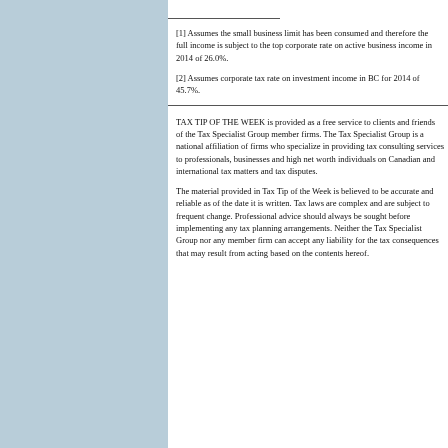[1] Assumes the small business limit has been consumed and therefore the full income is subject to the top corporate rate on active business income in BC for 2014 of 26.0%.
[2] Assumes corporate tax rate on investment income in BC for 2014 of 45.7%.
TAX TIP OF THE WEEK is provided as a free service to clients and friends of the Tax Specialist Group member firms. The Tax Specialist Group is a national affiliation of firms who specialize in providing tax consulting services to professionals, businesses and high net worth individuals on Canadian and international tax matters and tax disputes.
The material provided in Tax Tip of the Week is believed to be accurate and reliable as of the date it is written. Tax laws are complex and are subject to frequent change. Professional advice should always be sought before implementing any tax planning arrangements. Neither the Tax Specialist Group nor any member firm can accept any liability for the tax consequences that may result from acting based on the contents hereof.